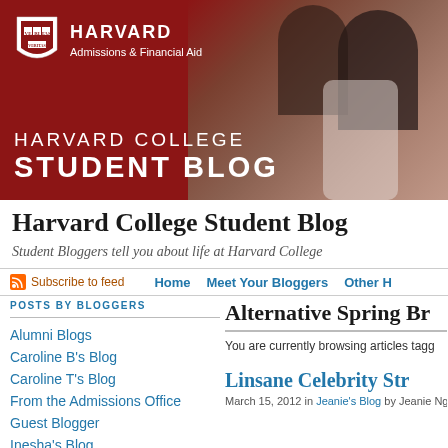[Figure (screenshot): Harvard Admissions & Financial Aid website banner with crimson background, Harvard shield logo, and photo of students]
Harvard College Student Blog
Student Bloggers tell you about life at Harvard College
Subscribe to feed | Home | Meet Your Bloggers | Other H
POSTS BY BLOGGERS
Alumni Blogs
Caroline B's Blog
Caroline T's Blog
From the Admissions Office
Guest Blogger
Inesha's Blog
Alternative Spring Br
You are currently browsing articles tagg
Linsane Celebrity Str
March 15, 2012 in Jeanie's Blog by Jeanie Nguy